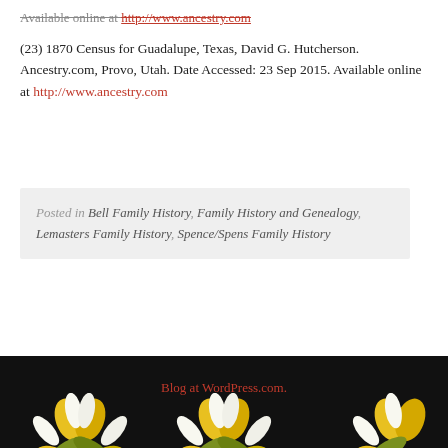Available online at http://www.ancestry.com
(23) 1870 Census for Guadalupe, Texas, David G. Hutcherson. Ancestry.com, Provo, Utah. Date Accessed: 23 Sep 2015. Available online at http://www.ancestry.com
Posted in Bell Family History, Family History and Genealogy, Lemasters Family History, Spence/Spens Family History
Blog at WordPress.com.